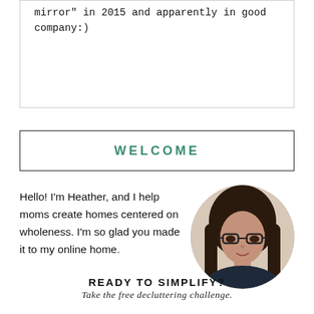mirror" in 2015 and apparently in good company:)
WELCOME
Hello! I'm Heather, and I help moms create homes centered on wholeness. I'm so glad you made it to my online home.
[Figure (photo): Circular portrait photo of a woman with dark hair and glasses wearing a dark top]
READY TO SIMPLIFY?
Take the free decluttering challenge.